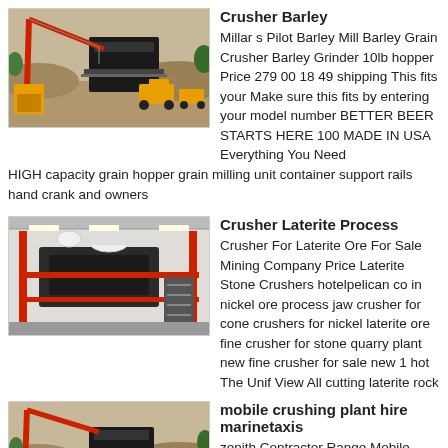[Figure (photo): Outdoor mining/crushing site with yellow crane and large black crusher machine]
Crusher Barley
Millar s Pilot Barley Mill Barley Grain Crusher Barley Grinder 10lb hopper Price 279 00 18 49 shipping This fits your Make sure this fits by entering your model number BETTER BEER STARTS HERE 100 MADE IN USA Everything You Need HIGH capacity grain hopper grain milling unit container support rails hand crank and owners
[Figure (photo): Indoor industrial crusher/conveyor equipment with red metal framework]
Crusher Laterite Process
Crusher For Laterite Ore For Sale Mining Company Price Laterite Stone Crushers hotelpelican co in nickel ore process jaw crusher for cone crushers for nickel laterite ore fine crusher for stone quarry plant new fine crusher for sale new 1 hot The Unif View All cutting laterite rock
[Figure (photo): Outdoor mobile crushing plant with red crane and construction vehicles]
mobile crushing plant hire marinetaxis
zenith Contractor Range Mobile Crushing Plants zenith zenith has pioneered the development of fully mobile crushing and